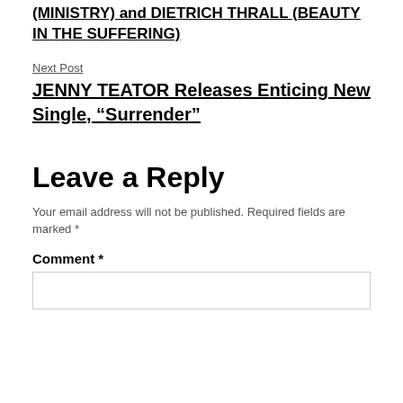PRETTY IN PINK Tour, including GIR QUINN (MINISTRY) and DIETRICH THRALL (BEAUTY IN THE SUFFERING)
Next Post
JENNY TEATOR Releases Enticing New Single, “Surrender”
Leave a Reply
Your email address will not be published. Required fields are marked *
Comment *